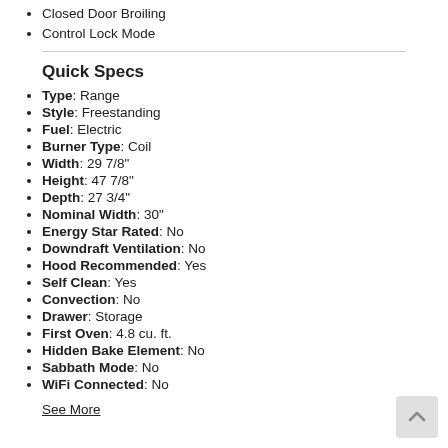Closed Door Broiling
Control Lock Mode
Quick Specs
Type: Range
Style: Freestanding
Fuel: Electric
Burner Type: Coil
Width: 29 7/8"
Height: 47 7/8"
Depth: 27 3/4"
Nominal Width: 30"
Energy Star Rated: No
Downdraft Ventilation: No
Hood Recommended: Yes
Self Clean: Yes
Convection: No
Drawer: Storage
First Oven: 4.8 cu. ft.
Hidden Bake Element: No
Sabbath Mode: No
WiFi Connected: No
See More